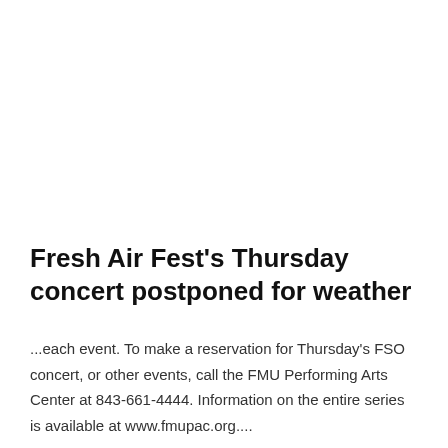Fresh Air Fest's Thursday concert postponed for weather
...each event. To make a reservation for Thursday's FSO concert, or other events, call the FMU Performing Arts Center at 843-661-4444. Information on the entire series is available at www.fmupac.org....